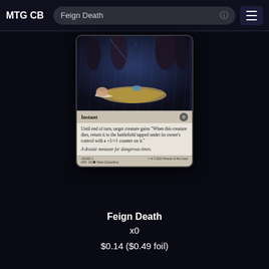MTG CB  Feign Death
[Figure (photo): MTG card 'Feign Death' from Adventures in the Forgotten Realms (AFR). Shows a fantasy art scene of a figure lying on the ground while shadowy figures with weapons stand around in a dark rainy environment. Card type: Instant. Rules text: Until end of turn, target creature gains "When this creature dies, return it to the battlefield tapped under its owner's control with a +1/+1 counter on it." Flavor text: A drastic measure for dangerous times. Card number 103/281 C, AFR EN, art by Maria Zolotukhina.]
Feign Death
x0
$0.14 ($0.49 foil)